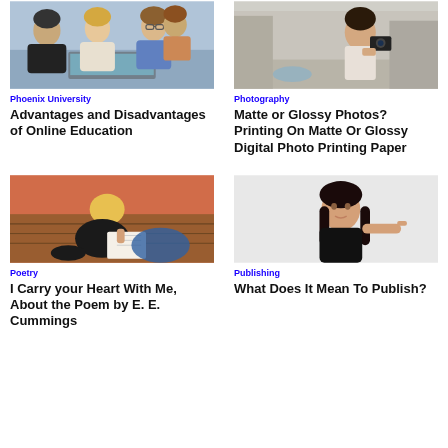[Figure (photo): Group of young people laughing together looking at a laptop]
Phoenix University
Advantages and Disadvantages of Online Education
[Figure (photo): Woman holding a camera in front of a fountain in a city]
Photography
Matte or Glossy Photos? Printing On Matte Or Glossy Digital Photo Printing Paper
[Figure (photo): Young woman with blonde hair writing in a notebook on the floor]
Poetry
I Carry your Heart With Me, About the Poem by E. E. Cummings
[Figure (photo): Dark-haired woman pointing to the side against a grey background]
Publishing
What Does It Mean To Publish?